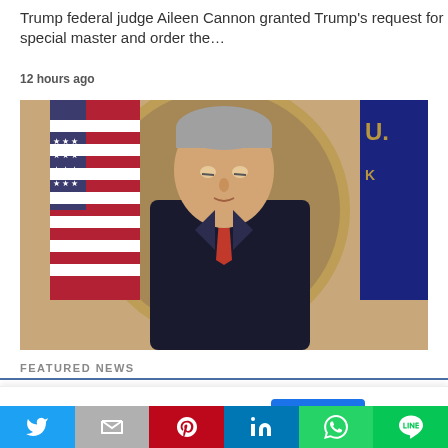Trump federal judge Aileen Cannon granted Trump's request for a special master and order the…
12 hours ago
[Figure (photo): A man in a dark suit and red tie standing in front of American flags and an official seal, looking downward.]
FEATURED NEWS
This website uses cookies.
Accept
Social share bar: Twitter, Gmail, Pinterest, LinkedIn, WhatsApp, LINE